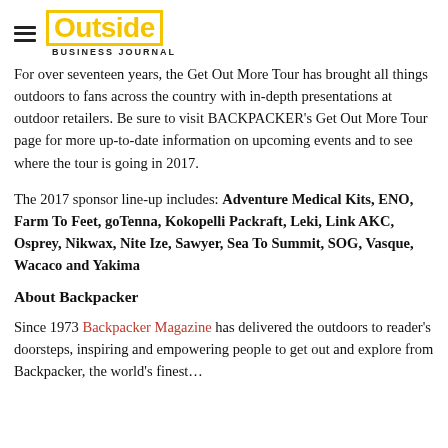Outside Business Journal
For over seventeen years, the Get Out More Tour has brought all things outdoors to fans across the country with in-depth presentations at outdoor retailers. Be sure to visit BACKPACKER’s Get Out More Tour page for more up-to-date information on upcoming events and to see where the tour is going in 2017.
The 2017 sponsor line-up includes: Adventure Medical Kits, ENO, Farm To Feet, goTenna, Kokopelli Packraft, Leki, Link AKC, Osprey, Nikwax, Nite Ize, Sawyer, Sea To Summit, SOG, Vasque, Wacaco and Yakima
About Backpacker
Since 1973 Backpacker Magazine has delivered the outdoors to reader’s doorsteps, inspiring and empowering people to get out and...